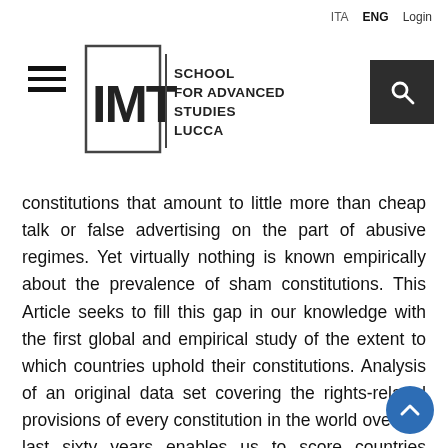ITA  ENG  Login
[Figure (logo): IMT School for Advanced Studies Lucca logo with hamburger menu icon on the left and search button on the right]
constitutions that amount to little more than cheap talk or false advertising on the part of abusive regimes. Yet virtually nothing is known empirically about the prevalence of sham constitutions. This Article seeks to fill this gap in our knowledge with the first global and empirical study of the extent to which countries uphold their constitutions. Analysis of an original data set covering the rights-related provisions of every constitution in the world over the last sixty years enables us to score countries according to the extent that they violate their constitutional promises or, conversely, the extent to which they deliver even more than they promise. Calculation of these scores makes possible a ranking of constitutional underperformers and